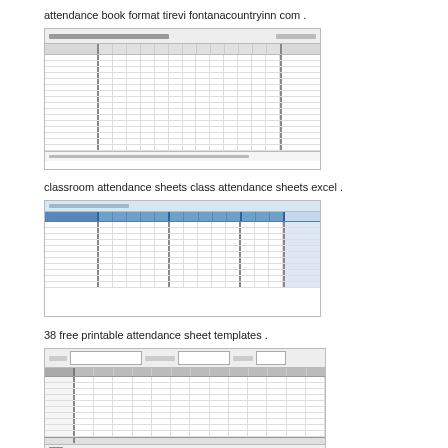attendance book format tirevi fontanacountryinn com .
[Figure (screenshot): Screenshot of a printed attendance book/spreadsheet template with rows and columns for student names and dates]
classroom attendance sheets class attendance sheets excel .
[Figure (screenshot): Screenshot of an Excel-based classroom attendance sheet with blue header row and many date columns]
38 free printable attendance sheet templates .
[Figure (screenshot): Screenshot of a printable attendance sheet template with student number rows and date columns]